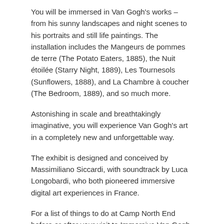You will be immersed in Van Gogh's works – from his sunny landscapes and night scenes to his portraits and still life paintings. The installation includes the Mangeurs de pommes de terre (The Potato Eaters, 1885), the Nuit étoilée (Starry Night, 1889), Les Tournesols (Sunflowers, 1888), and La Chambre à coucher (The Bedroom, 1889), and so much more.
Astonishing in scale and breathtakingly imaginative, you will experience Van Gogh's art in a completely new and unforgettable way.
The exhibit is designed and conceived by Massimiliano Siccardi, with soundtrack by Luca Longobardi, who both pioneered immersive digital art experiences in France.
For a list of things to do at Camp North End before or after your visit to Immersive Van Gogh, click here.